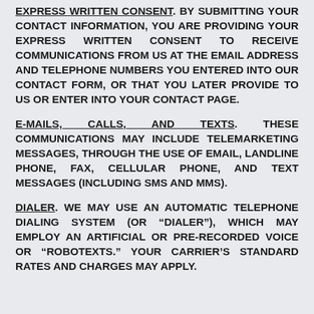EXPRESS WRITTEN CONSENT. BY SUBMITTING YOUR CONTACT INFORMATION, YOU ARE PROVIDING YOUR EXPRESS WRITTEN CONSENT TO RECEIVE COMMUNICATIONS FROM US AT THE EMAIL ADDRESS AND TELEPHONE NUMBERS YOU ENTERED INTO OUR CONTACT FORM, OR THAT YOU LATER PROVIDE TO US OR ENTER INTO YOUR CONTACT PAGE.
E-MAILS, CALLS, AND TEXTS. THESE COMMUNICATIONS MAY INCLUDE TELEMARKETING MESSAGES, THROUGH THE USE OF EMAIL, LANDLINE PHONE, FAX, CELLULAR PHONE, AND TEXT MESSAGES (INCLUDING SMS AND MMS).
DIALER. WE MAY USE AN AUTOMATIC TELEPHONE DIALING SYSTEM (OR “DIALER”), WHICH MAY EMPLOY AN ARTIFICIAL OR PRE-RECORDED VOICE OR “ROBOTEXTS.” YOUR CARRIER’S STANDARD RATES AND CHARGES MAY APPLY.